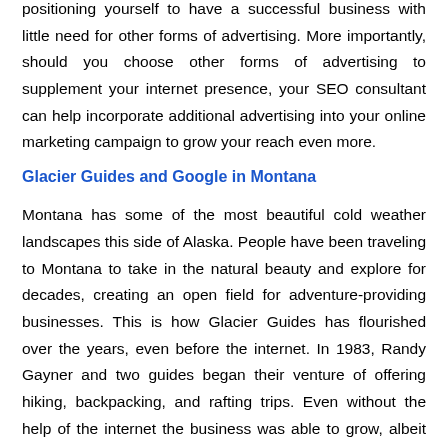positioning yourself to have a successful business with little need for other forms of advertising. More importantly, should you choose other forms of advertising to supplement your internet presence, your SEO consultant can help incorporate additional advertising into your online marketing campaign to grow your reach even more.
Glacier Guides and Google in Montana
Montana has some of the most beautiful cold weather landscapes this side of Alaska. People have been traveling to Montana to take in the natural beauty and explore for decades, creating an open field for adventure-providing businesses. This is how Glacier Guides has flourished over the years, even before the internet. In 1983, Randy Gayner and two guides began their venture of offering hiking, backpacking, and rafting trips. Even without the help of the internet the business was able to grow, albeit slowly, because they showed a true commitment to the outdoor experience of Montana. However, once the